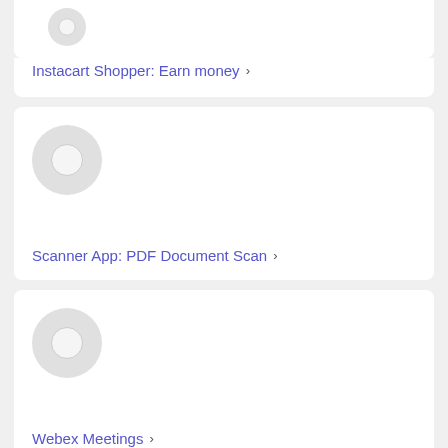[Figure (screenshot): App icon placeholder (partial, top-cropped) for Instacart Shopper app]
Instacart Shopper: Earn money ›
[Figure (screenshot): App icon placeholder circle for Scanner App]
Scanner App: PDF Document Scan ›
[Figure (screenshot): App icon placeholder circle for Webex Meetings]
Webex Meetings ›